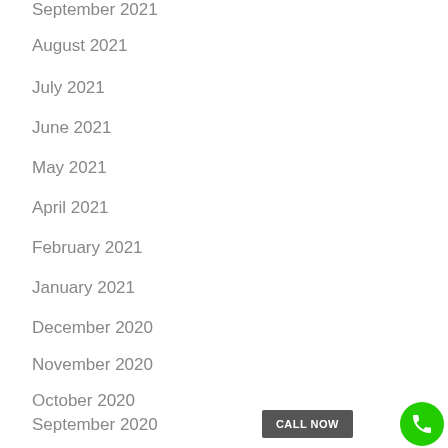September 2021
August 2021
July 2021
June 2021
May 2021
April 2021
February 2021
January 2021
December 2020
November 2020
October 2020
September 2020
August 2020